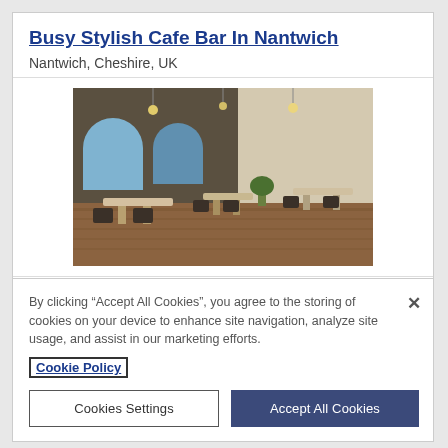Busy Stylish Cafe Bar In Nantwich
Nantwich, Cheshire, UK
[Figure (photo): Interior of a stylish cafe bar showing tables, chairs, wooden floor, arched windows, and pendant lighting]
Occupying a prime location, this busy town centre cafe bar is stylish, well equipped and comes with a good compliment
By clicking “Accept All Cookies”, you agree to the storing of cookies on your device to enhance site navigation, analyze site usage, and assist in our marketing efforts.
Cookie Policy
Cookies Settings
Accept All Cookies